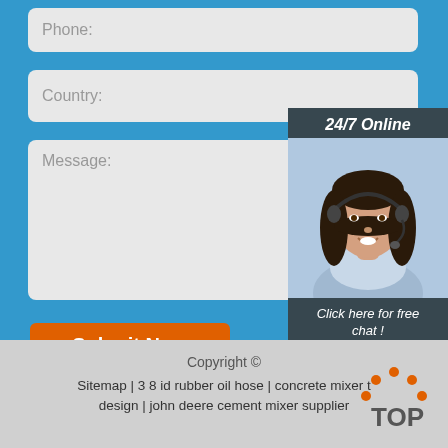Phone:
Country:
Message:
24/7 Online
[Figure (photo): Customer service agent, woman with headset smiling]
Click here for free chat !
QUOTATION
Submit Now
Copyright ©
Sitemap | 3 8 id rubber oil hose | concrete mixer t design | john deere cement mixer supplier